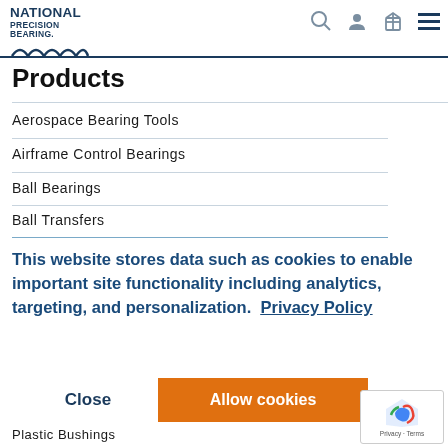[Figure (logo): National Precision Bearing logo with text and wave graphic]
Products
Aerospace Bearing Tools
Airframe Control Bearings
Ball Bearings
Ball Transfers
This website stores data such as cookies to enable important site functionality including analytics, targeting, and personalization.  Privacy Policy
Close    Allow cookies
Plastic Bushings